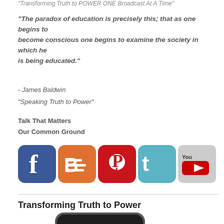"Transforming Truth to POWER ONE Broadcast At A Time"
"The paradox of education is precisely this; that as one begins to become conscious one begins to examine the society in which he is being educated."
- James Baldwin
"Speaking Truth to Power"
Talk That Matters
Our Common Ground
[Figure (infographic): Row of five social media icon buttons: Facebook (blue), Blogger (orange), Pinterest (red), Twitter (teal), YouTube (gray)]
Transforming Truth to Power
[Figure (photo): Smartphone screen showing 'OUR COMMON GROUND with Janice Graham' text on dark background]